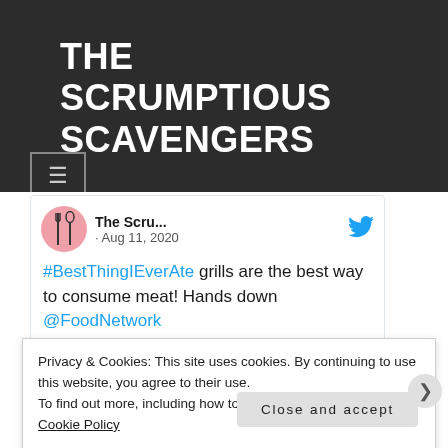THE SCRUMPTIOUS SCAVENGERS
[Figure (screenshot): Hamburger menu button in dark header area]
[Figure (screenshot): Embedded tweet from The Scru... dated Aug 11, 2020 with Twitter bird logo, pink circular avatar with fork and spoon icon. Tweet text: #BestThingIEverAte grills are the best way to consume meat! Hands down @FoodNetwork]
Privacy & Cookies: This site uses cookies. By continuing to use this website, you agree to their use.
To find out more, including how to control cookies, see here:
Cookie Policy
Close and accept